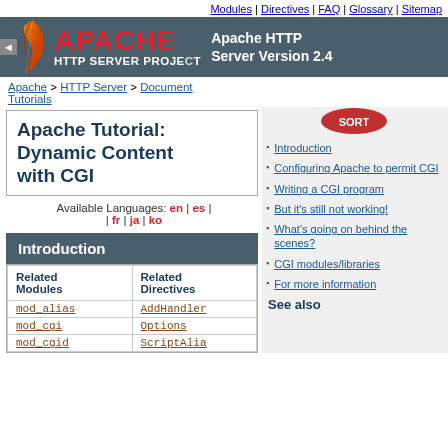Modules | Directives | FAQ | Glossary | Sitemap
[Figure (logo): Apache HTTP Server Project logo with feather, red APACHE text, and version info]
Apache > HTTP Server > Documentation > Tutorials
Apache Tutorial: Dynamic Content with CGI
Available Languages: en | es | fr | ja | ko
Introduction
| Related Modules | Related Directives |
| --- | --- |
| mod_alias | AddHandler |
| mod_cgi | Options |
| mod_cgid | ScriptAlia... |
Introduction
Configuring Apache to permit CGI
Writing a CGI program
But it's still not working!
What's going on behind the scenes?
CGI modules/libraries
For more information
See also